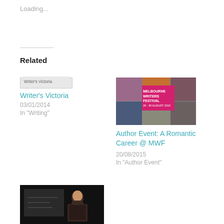Loading...
Related
[Figure (photo): Writer's Victoria broken image placeholder with alt text 'Writer's Victoria']
Writer's Victoria
03/01/2014
In "Writing"
[Figure (photo): Melbourne Writers Festival collage image showing multiple people and a pink banner with 'MELBOURNE WRITERS FESTIVAL 29 - 30 AUGUST 2015']
Author Event: A Romantic Career @ MWF
20/08/2015
In "Author Event"
[Figure (photo): Photo of a man in a dark jacket presenting at a whiteboard with drawings]